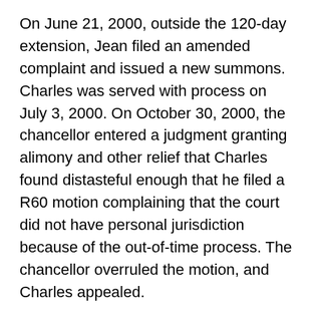On June 21, 2000, outside the 120-day extension, Jean filed an amended complaint and issued a new summons. Charles was served with process on July 3, 2000. On October 30, 2000, the chancellor entered a judgment granting alimony and other relief that Charles found distasteful enough that he filed a R60 motion complaining that the court did not have personal jurisdiction because of the out-of-time process. The chancellor overruled the motion, and Charles appealed.
The MSSC reversed and remanded.
Was Jean's motion for extension of time untimely? Jean waited until after the initial 120 days had run before she filed for additional time. The court took note of a split of authority in other states, but noted that there is nothing in the rules that requires filing a motion for extension within